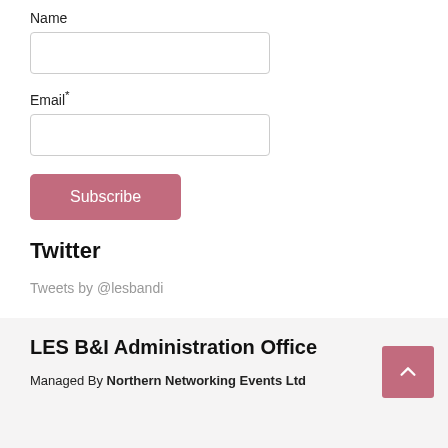Name
Email*
Subscribe
Twitter
Tweets by @lesbandi
LES B&I Administration Office
Managed By Northern Networking Events Ltd